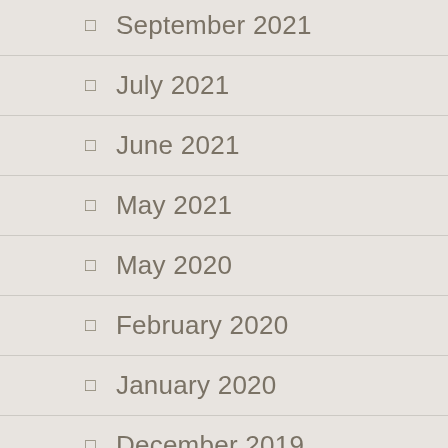September 2021
July 2021
June 2021
May 2021
May 2020
February 2020
January 2020
December 2019